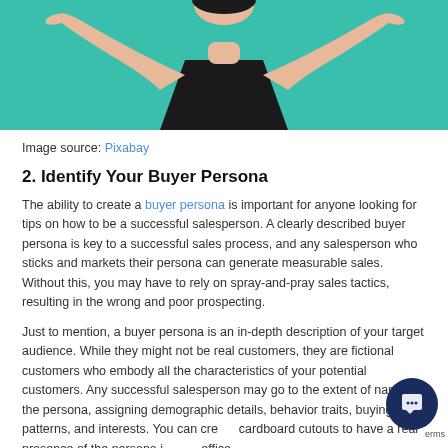[Figure (illustration): Illustration of a person in a black top with teal background, arms outstretched, cropped at torso level]
Image source: Pixabay
2. Identify Your Buyer Persona
The ability to create a buyer persona is important for anyone looking for tips on how to be a successful salesperson. A clearly described buyer persona is key to a successful sales process, and any salesperson who sticks and markets their persona can generate measurable sales. Without this, you may have to rely on spray-and-pray sales tactics, resulting in the wrong and poor prospecting.
Just to mention, a buyer persona is an in-depth description of your target audience. While they might not be real customers, they are fictional customers who embody all the characteristics of your potential customers. Any successful salesperson may go to the extent of naming the persona, assigning demographic details, behavior traits, buying patterns, and interests. You can create cardboard cutouts to have a real presence of the persona in your office.